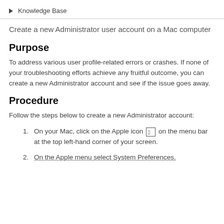Knowledge Base
Create a new Administrator user account on a Mac computer
Purpose
To address various user profile-related errors or crashes. If none of your troubleshooting efforts achieve any fruitful outcome, you can create a new Administrator account and see if the issue goes away.
Procedure
Follow the steps below to create a new Administrator account:
On your Mac, click on the Apple icon on the menu bar at the top left-hand corner of your screen.
On the Apple menu select System Preferences.